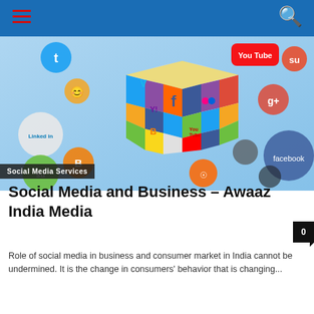Navigation bar with hamburger menu and search icon
[Figure (illustration): Social media icons and logos (Twitter, Facebook, YouTube, LinkedIn, Blogger, StumbleUpon, Google+, Flickr, RSS, etc.) arranged around a Rubik's cube styled with social media brand colors and logos, on a light blue background. Tag: Social Media Services.]
Social Media and Business – Awaaz India Media
Role of social media in business and consumer market in India cannot be undermined. It is the change in consumers' behavior that is changing...